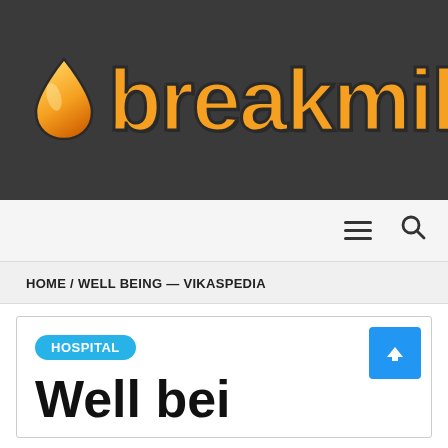[Figure (logo): Breakmil logo: orange water drop icon followed by the word 'breakmil' in bold orange font with dark outline, on a dark grey background]
☰  🔍
HOME / WELL BEING — VIKASPEDIA
HOSPITAL
Well bei…